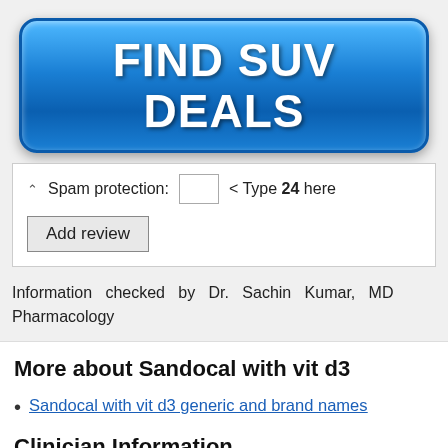[Figure (other): Blue gradient button advertisement reading FIND SUV DEALS in large bold white text]
Spam protection: < Type 24 here
Add review
Information checked by Dr. Sachin Kumar, MD Pharmacology
More about Sandocal with vit d3
Sandocal with vit d3 generic and brand names
Clinician Information